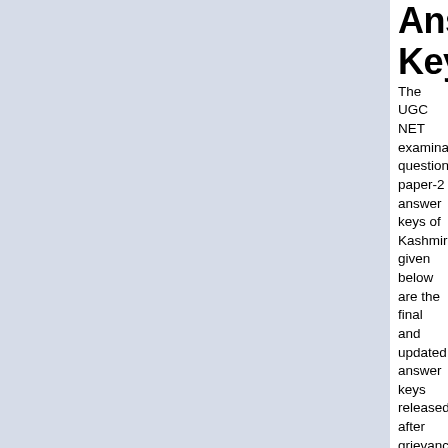Answer Keys
The UGC NET examination question paper-2 answer keys of Kashmiri given below are the final and updated answer keys released after grievances by the University Grants Commission (UGC) or National